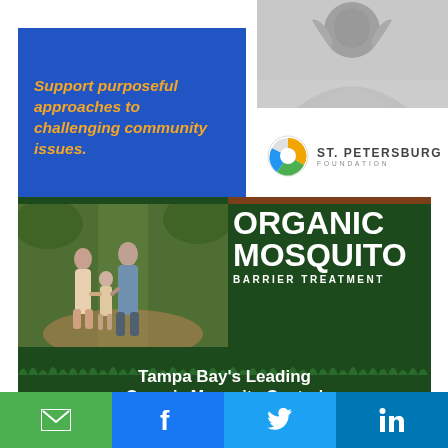[Figure (illustration): Blue box with italic yellow-orange bold text 'Support purposeful approaches to challenging community issues.' alongside a grayscale photo of a person with head in hands, and a St. Petersburg Foundation logo below the photo]
[Figure (illustration): Dark green advertisement banner for Organic Mosquito Barrier Treatment featuring a family walking in a forest park on the left, large white bold text 'ORGANIC MOSQUITO BARRIER TREATMENT' on the right, a 'GET A QUOTE' call-to-action strip, and bottom text 'Tampa Bay's Leading Organic Mosquito Control']
[Figure (other): Social sharing bar with four buttons: green email/envelope icon, blue Facebook icon, blue Twitter icon, blue LinkedIn icon]